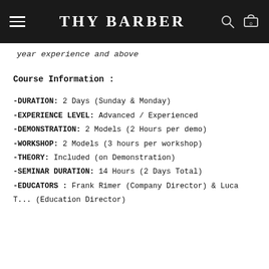THY BARBER
year experience and above
Course Information :
-DURATION: 2 Days (Sunday & Monday)
-EXPERIENCE LEVEL: Advanced / Experienced
-DEMONSTRATION: 2 Models (2 Hours per demo)
-WORKSHOP: 2 Models (3 hours per workshop)
-THEORY: Included (on Demonstration)
-SEMINAR DURATION: 14 Hours (2 Days Total)
-EDUCATORS : Frank Rimer (Company Director) & Luca T... (Education Director)